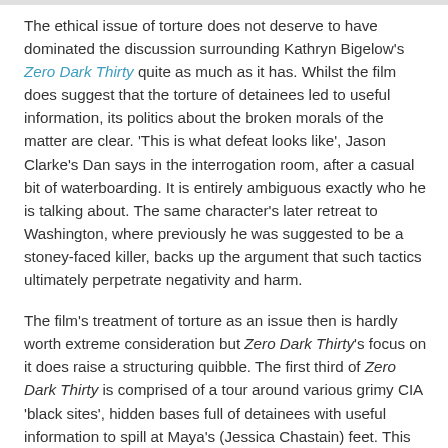The ethical issue of torture does not deserve to have dominated the discussion surrounding Kathryn Bigelow's Zero Dark Thirty quite as much as it has. Whilst the film does suggest that the torture of detainees led to useful information, its politics about the broken morals of the matter are clear. 'This is what defeat looks like', Jason Clarke's Dan says in the interrogation room, after a casual bit of waterboarding. It is entirely ambiguous exactly who he is talking about. The same character's later retreat to Washington, where previously he was suggested to be a stoney-faced killer, backs up the argument that such tactics ultimately perpetrate negativity and harm.
The film's treatment of torture as an issue then is hardly worth extreme consideration but Zero Dark Thirty's focus on it does raise a structuring quibble. The first third of Zero Dark Thirty is comprised of a tour around various grimy CIA 'black sites', hidden bases full of detainees with useful information to spill at Maya's (Jessica Chastain) feet. This overt violence jars with the tension and subtler moments of the desk work